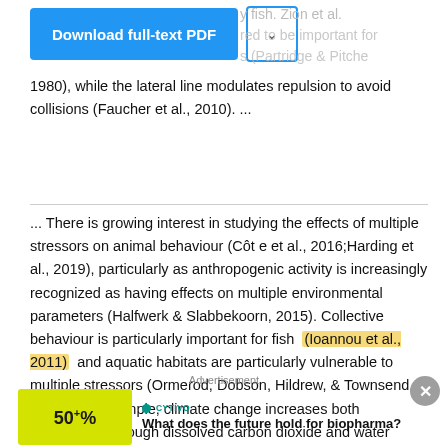[Figure (screenshot): Download full-text PDF button with dropdown arrow]
1980), while the lateral line modulates repulsion to avoid collisions (Faucher et al., 2010). ...
... There is growing interest in studying the effects of multiple stressors on animal behaviour (Côt e et al., 2016;Harding et al., 2019), particularly as anthropogenic activity is increasingly recognized as having effects on multiple environmental parameters (Halfwerk & Slabbekoorn, 2015). Collective behaviour is particularly important for fish (Ioannou et al., 2011) and aquatic habitats are particularly vulnerable to multiple stressors (Ormerod, Dobson, Hildrew, & Townsend, 2010). For example, climate change increases both acidification through dissolved carbon dioxide and water temperature (Pistevos et al., 2017). ...
Advertisement
[Figure (infographic): Advertisement banner: yellow graphic with 50+% text on left, cyano logo and headline 'What does the future hold for biopharma?' on right]